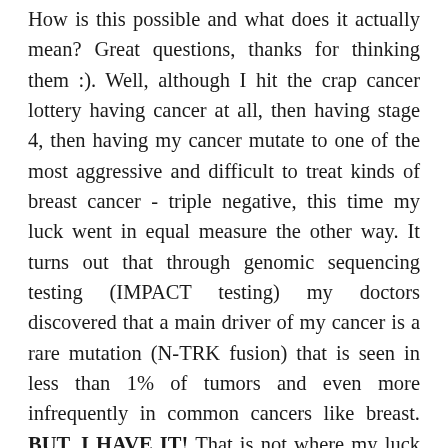How is this possible and what does it actually mean? Great questions, thanks for thinking them :). Well, although I hit the crap cancer lottery having cancer at all, then having stage 4, then having my cancer mutate to one of the most aggressive and difficult to treat kinds of breast cancer - triple negative, this time my luck went in equal measure the other way. It turns out that through genomic sequencing testing (IMPACT testing) my doctors discovered that a main driver of my cancer is a rare mutation (N-TRK fusion) that is seen in less than 1% of tumors and even more infrequently in common cancers like breast. BUT, I HAVE IT! That is not where my luck ends though because apparently it was a strong driver and it was everywhere the cancer spread - my brain, bones, lymph nodes, adrenals and liver. My cancer seems to share my [Support Us] of "Go big or go home." Miraculous ... brilliant researchers